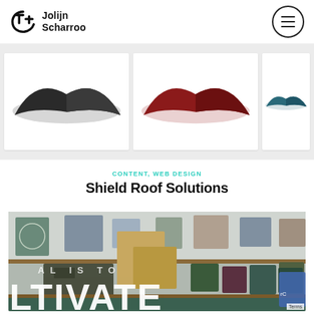Jolijn Scharroo
[Figure (photo): Three roof tile product photos side by side: black/dark grey roof tile, red/dark red roof tile, and teal/blue roof tile, each on a white card background]
CONTENT, WEB DESIGN
Shield Roof Solutions
[Figure (photo): Art/craft display showing wooden boards, paintings, and artworks on a shelf, with large text reading 'CULTIVATE' partially visible at bottom and 'AL IS TO' visible in middle]